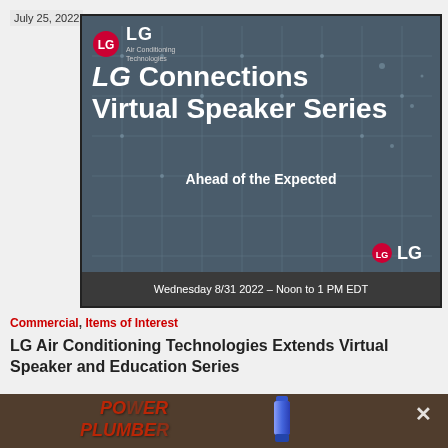July 25, 2022
[Figure (screenshot): LG Air Conditioning Technologies - LG Connections Virtual Speaker Series promotional slide. Text: 'LG Connections Virtual Speaker Series - Ahead of the Expected'. Date: Wednesday 8/31 2022 - Noon to 1 PM EDT. Features LG logo.]
Commercial, Items of Interest
LG Air Conditioning Technologies Extends Virtual Speaker and Education Series
[Figure (photo): Partially visible image showing 'POWER PLUMBER' text in red and a blue bottle/canister product. Has a close/X button in the upper right corner.]